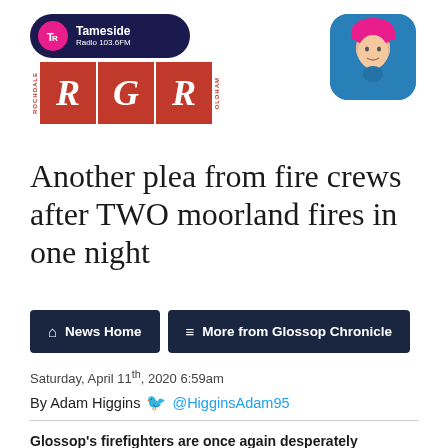[Figure (logo): Tameside Radio 103.6FM logo with RGR (Rochdale, Glossop, Radcliffe) text in red letters on white background]
[Figure (photo): Circular profile photo of a man, journalist Adam Higgins, with blue background]
Another plea from fire crews after TWO moorland fires in one night
News Home
More from Glossop Chronicle
Saturday, April 11th, 2020 6:59am
By Adam Higgins @HigginsAdam95
Glossop's firefighters are once again desperately